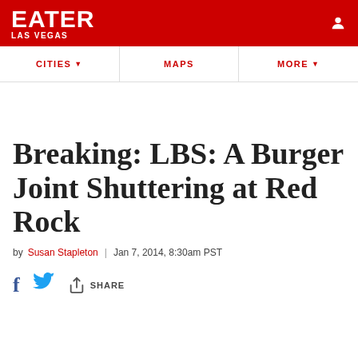EATER LAS VEGAS
CITIES | MAPS | MORE
Breaking: LBS: A Burger Joint Shuttering at Red Rock
by Susan Stapleton | Jan 7, 2014, 8:30am PST
Share (Facebook, Twitter, Share button)